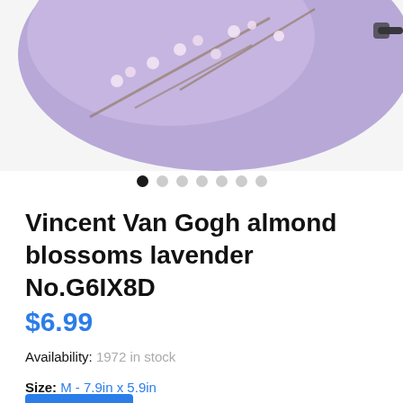[Figure (photo): Product photo of a lavender/purple face mask with Van Gogh almond blossoms floral print, partially visible at top of page with elastic strap visible on right side.]
● ○ ○ ○ ○ ○ ○ (image carousel dots)
Vincent Van Gogh almond blossoms lavender No.G6IX8D
$6.99
Availability: 1972 in stock
Size: M - 7.9in x 5.9in